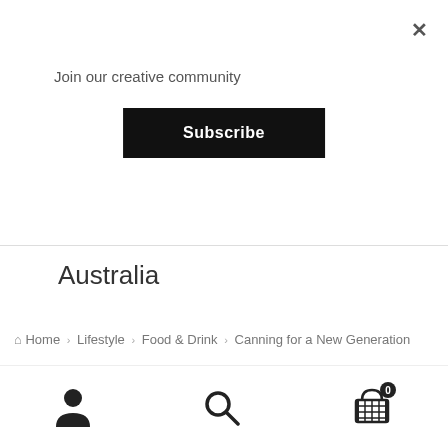Join our creative community
Subscribe
Australia
Home › Lifestyle › Food & Drink › Canning for a New Generation
[Figure (photo): Three open mason jars viewed from above on a wooden surface: left jar contains red/orange pickled peppers, center jar contains pink pickled rhubarb or similar strips, right jar contains yellow-green relish or chutney.]
0